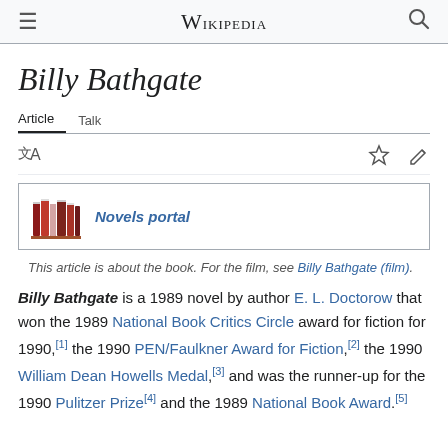≡ WIKIPEDIA 🔍
Billy Bathgate
Article  Talk
[Figure (illustration): Books icon representing Novels portal]
Novels portal
This article is about the book. For the film, see Billy Bathgate (film).
Billy Bathgate is a 1989 novel by author E. L. Doctorow that won the 1989 National Book Critics Circle award for fiction for 1990,[1] the 1990 PEN/Faulkner Award for Fiction,[2] the 1990 William Dean Howells Medal,[3] and was the runner-up for the 1990 Pulitzer Prize[4] and the 1989 National Book Award.[5]